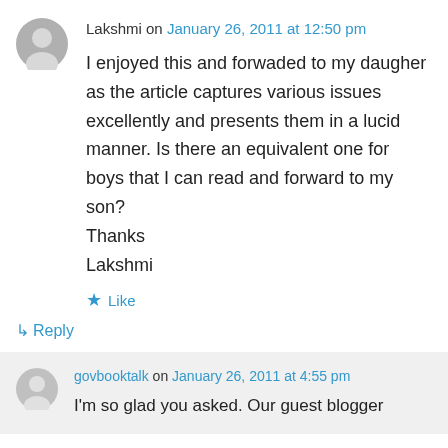Lakshmi on January 26, 2011 at 12:50 pm
I enjoyed this and forwaded to my daugher as the article captures various issues excellently and presents them in a lucid manner. Is there an equivalent one for boys that I can read and forward to my son?
Thanks
Lakshmi
★ Like
↳ Reply
govbooktalk on January 26, 2011 at 4:55 pm
I'm so glad you asked. Our guest blogger